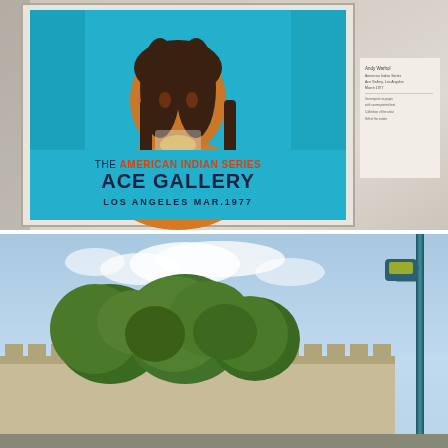[Figure (photo): Gallery interior showing Andy Warhol's 'American Indian Series' poster displayed in a white frame on a beige wall. The poster features a stylized portrait of a Native American person on a teal/cyan background with text reading 'THE AMERICAN INDIAN SERIES / ACE GALLERY / LOS ANGELES MAR.1977'. A wall label panel is visible to the right of the poster.]
[Figure (photo): Outdoor photograph showing a low brick building with tree tops visible above it and a teal-colored streetlamp on the right side. Blue sky with white clouds in background.]